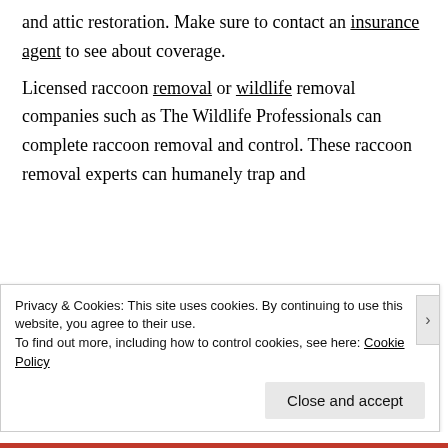and attic restoration. Make sure to contact an insurance agent to see about coverage.

Licensed raccoon removal or wildlife removal companies such as The Wildlife Professionals can complete raccoon removal and control. These raccoon removal experts can humanely trap and
Privacy & Cookies: This site uses cookies. By continuing to use this website, you agree to their use.
To find out more, including how to control cookies, see here: Cookie Policy